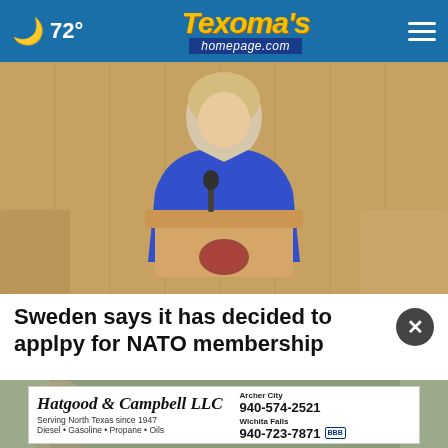🌙 72° | Texoma's homepage.com | ☰
[Figure (photo): Woman in blue blazer speaking at a podium with a Swedish crown emblem, in what appears to be the Swedish parliament chamber with wood-paneled walls]
Sweden says it has decided to applpy for NATO membership
[Figure (photo): Partial photo visible beneath ad banner]
Hatgood & Campbell LLC — Serving North Texas since 1947 — Diesel • Gasoline • Propane • Oils — Archer City 940-574-2521 — Wichita Falls 940-723-7871 BBB